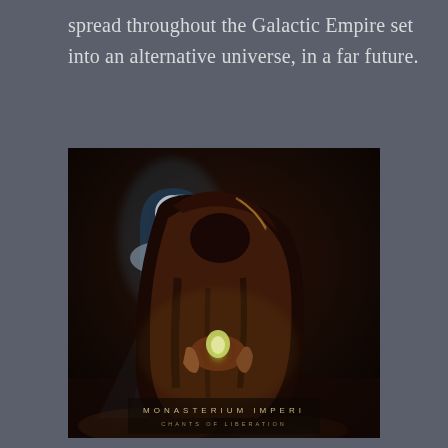spread throughout the Galactic Empire set into an alternative universe, in a far future.
[Figure (illustration): Dark fantasy album art showing a hooded robed figure holding a glowing candle or orb, with a Gothic arched window in the background showing a moon and clouds. Text at bottom reads 'MONASTERIUM IMPERI' and 'CHANTS OF LIBERATION'.]